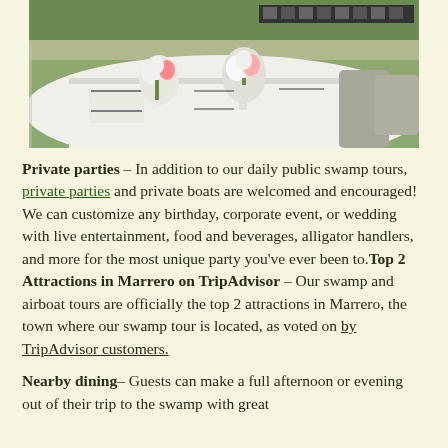[Figure (photo): Outdoor party setup on a deck with white tablecloths, floral centerpieces, and place settings. Birthday banner visible in background.]
Private parties – In addition to our daily public swamp tours, private parties and private boats are welcomed and encouraged! We can customize any birthday, corporate event, or wedding with live entertainment, food and beverages, alligator handlers, and more for the most unique party you've ever been to. Top 2 Attractions in Marrero on TripAdvisor – Our swamp and airboat tours are officially the top 2 attractions in Marrero, the town where our swamp tour is located, as voted on by TripAdvisor customers.
Nearby dining– Guests can make a full afternoon or evening out of their trip to the swamp with great nearby dining options, including the...